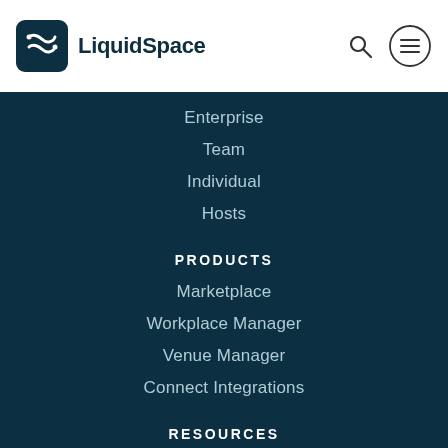[Figure (logo): LiquidSpace logo with icon and wordmark in dark teal]
Enterprise
Team
Individual
Hosts
PRODUCTS
Marketplace
Workplace Manager
Venue Manager
Connect Integrations
RESOURCES
The Current
Perspectives
Hybrid Workplace 101